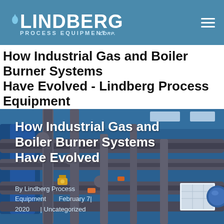LINDBERG PROCESS EQUIPMENT CORP.
How Industrial Gas and Boiler Burner Systems Have Evolved - Lindberg Process Equipment
[Figure (photo): Industrial boiler room with complex network of grey and blue pipes, valves, and process equipment in a large facility with skylights. Overlaid text reads 'How Industrial Gas and Boiler Burner Systems Have Evolved' with metadata 'By Lindberg Process Equipment | February 7 | 2020 | Uncategorized']